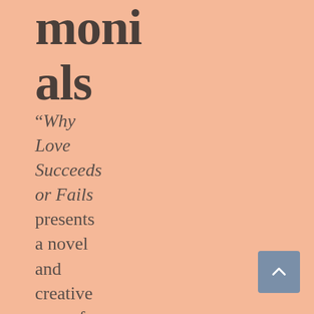monials
"Why Love Succeeds or Fails presents a novel and creative way of understanding how our attitude towards love, and the love